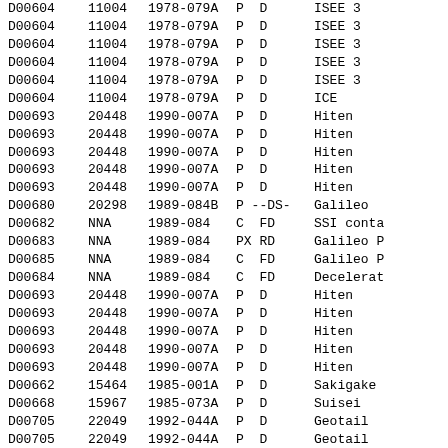| D00604 | 11004 | 1978-079A | P  D | ISEE 3 |
| D00604 | 11004 | 1978-079A | P  D | ISEE 3 |
| D00604 | 11004 | 1978-079A | P  D | ISEE 3 |
| D00604 | 11004 | 1978-079A | P  D | ISEE 3 |
| D00604 | 11004 | 1978-079A | P  D | ISEE 3 |
| D00604 | 11004 | 1978-079A | P  D | ICE |
| D00693 | 20448 | 1990-007A | P  D | Hiten |
| D00693 | 20448 | 1990-007A | P  D | Hiten |
| D00693 | 20448 | 1990-007A | P  D | Hiten |
| D00693 | 20448 | 1990-007A | P  D | Hiten |
| D00693 | 20448 | 1990-007A | P  D | Hiten |
| D00680 | 20298 | 1989-084B | P --DS- | Galileo |
| D00682 | NNA | 1989-084 | C  FD | SSI conta |
| D00683 | NNA | 1989-084 | PX RD | Galileo P |
| D00685 | NNA | 1989-084 | C  FD | Galileo P |
| D00684 | NNA | 1989-084 | C  FD | Decelerat |
| D00693 | 20448 | 1990-007A | P  D | Hiten |
| D00693 | 20448 | 1990-007A | P  D | Hiten |
| D00693 | 20448 | 1990-007A | P  D | Hiten |
| D00693 | 20448 | 1990-007A | P  D | Hiten |
| D00693 | 20448 | 1990-007A | P  D | Hiten |
| D00662 | 15464 | 1985-001A | P  D | Sakigake |
| D00668 | 15967 | 1985-073A | P  D | Suisei |
| D00705 | 22049 | 1992-044A | P  D | Geotail |
| D00705 | 22049 | 1992-044A | P  D | Geotail |
| D00705 | 22049 | 1992-044A | P  D | Geotail |
| D00680 | 20298 | 1989-084B | P --DS- | Galileo |
| D00683 | NNA | 1989-084 | PX RD | Galileo P |
| D00685 | NNA | 1989-084 | C  FD | Galileo P |
| D00684 | NNA | 1989-084 | C  FD | Decelerat |